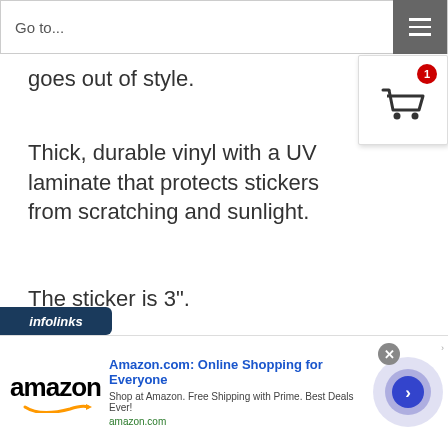Go to...
goes out of style.
Thick, durable vinyl with a UV laminate that protects stickers from scratching and sunlight.
The sticker is 3".
[Figure (screenshot): Infolinks ad label bar]
Sweet Land Of Liberty Sticker
[Figure (screenshot): Amazon advertisement banner: Amazon.com: Online Shopping for Everyone. Shop at Amazon. Free Shipping with Prime. Best Deals Ever! amazon.com]